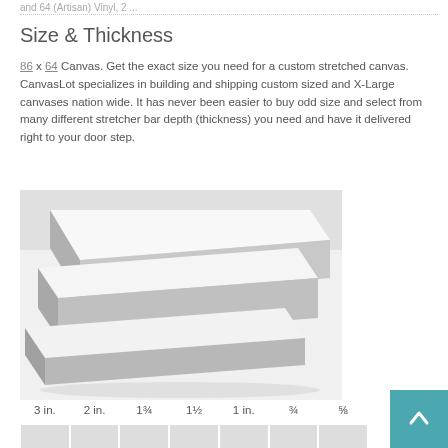and 64 (Artisan) Vinyl, 2 ...
Size & Thickness
86 x 64 Canvas. Get the exact size you need for a custom stretched canvas. CanvasLot specializes in building and shipping custom sized and X-Large canvases nation wide. It has never been easier to buy odd size and select from many different stretcher bar depth (thickness) you need and have it delivered right to your door step.
[Figure (photo): Three stacked stretched canvas frames showing their thickness/depth, photographed from an angle against a white background.]
3 in.  2 in.  1¾  1½  1 in.  ¾  ⅝